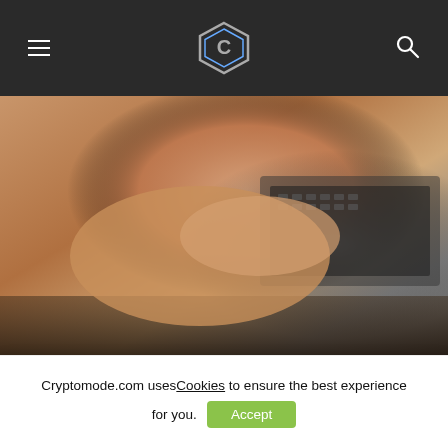CryptoMode navigation header with hamburger menu, hexagon C logo, and search icon
[Figure (photo): Close-up photo of a person's hands typing on a laptop keyboard on a dark table]
[Figure (infographic): Bitcoin PR Buzz advertisement banner: 'Marketing a Blockchain Business? Tell Your Story with Bitcoin PR Buzz' with Contact Now button]
To better understand what it takes to create a cryptocurrency exchange, you need to break down the process into essential steps. Some of these include developing your website and its features, marketing strategies, hiring a development team, and complying with
Cryptomode.com uses Cookies to ensure the best experience for you.